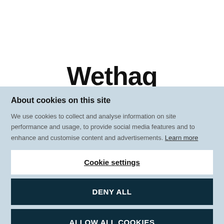[Figure (logo): Wethaq logo in large bold black text]
About cookies on this site
We use cookies to collect and analyse information on site performance and usage, to provide social media features and to enhance and customise content and advertisements. Learn more
Cookie settings
DENY ALL
ALLOW ALL COOKIES